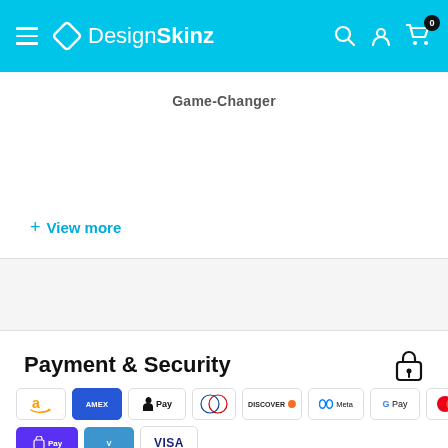DesignSkinz
Game-Changer
+ View more
Payment & Security
[Figure (logo): Payment method icons: Amazon, Amex, Apple Pay, Diners Club, Discover, Meta Pay, Google Pay, Mastercard, PayPal, Shop Pay, Venmo, Visa]